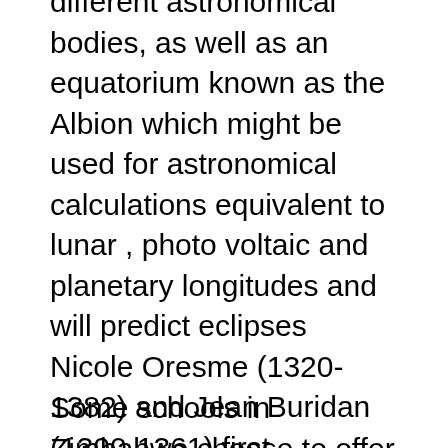different astronomical bodies, as well as an equatorium known as the Albion which might be used for astronomical calculations equivalent to lunar , photo voltaic and planetary longitudes and will predict eclipses Nicole Oresme (1320-1382) and Jean Buridan (1300-1361) first mentioned proof for the rotation of the Earth, furthermore, Buridan additionally developed the theory of impetus (predecessor of the trendy scientific theory of inertia ) which was capable of show planets were capable of motion with out the intervention of angels.
Some schools in Zimbabwe choose to offer the Worldwide Baccalaureate research as an